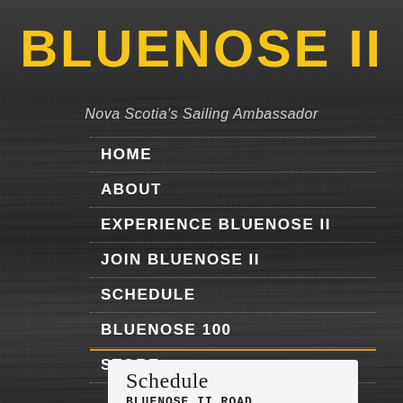BLUENOSE II
Nova Scotia's Sailing Ambassador
HOME
ABOUT
EXPERIENCE BLUENOSE II
JOIN BLUENOSE II
SCHEDULE
BLUENOSE 100
STORE
Schedule
BLUENOSE II Road...